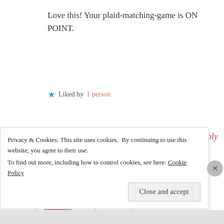Love this! Your plaid-matching-game is ON POINT.
★ Liked by 1 person
Reply
alwaysacraftylady
June 1, 2016 at 9:35 pm
Privacy & Cookies: This site uses cookies. By continuing to use this website, you agree to their use. To find out more, including how to control cookies, see here: Cookie Policy
Close and accept